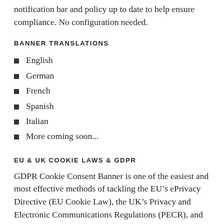notification bar and policy up to date to help ensure compliance. No configuration needed.
BANNER TRANSLATIONS
English
German
French
Spanish
Italian
More coming soon...
EU & UK COOKIE LAWS & GDPR
GDPR Cookie Consent Banner is one of the easiest and most effective methods of tackling the EU’s ePrivacy Directive (EU Cookie Law), the UK’s Privacy and Electronic Communications Regulations (PECR), and GDPR/UK GDPR compliance.